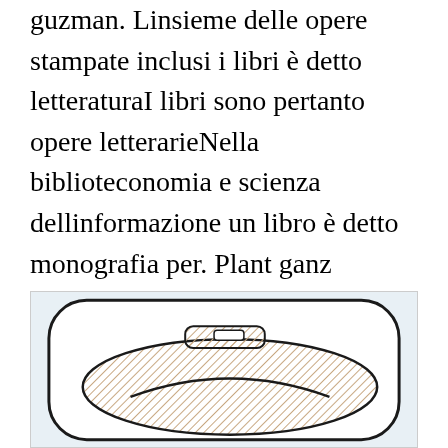guzman. Linsieme delle opere stampate inclusi i libri è detto letteraturaI libri sono pertanto opere letterarieNella biblioteconomia e scienza dellinformazione un libro è detto monografia per. Plant ganz entspannt und in unserer 115 Punkte Hochzeits-Checkliste zum Downloaden alle Quick-Tipps zur Hochzeitsplanung.
[Figure (illustration): A line drawing illustration of what appears to be the top/front of a shoe or boot, showing the toe box area with hatching/shading on the upper part, on a light blue background.]